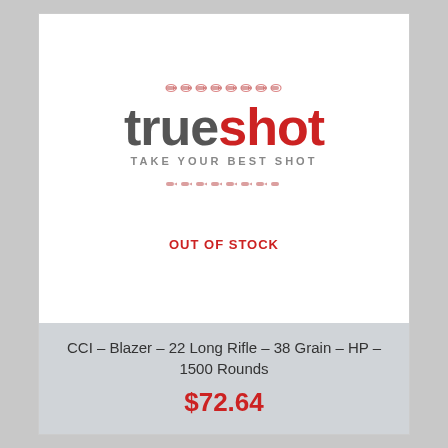[Figure (logo): Trueshot logo with bullet decorations above and below. 'true' in dark gray, 'shot' in red, tagline 'TAKE YOUR BEST SHOT' in gray. Two rows of bullet icons in red above and below the logo text.]
OUT OF STOCK
CCI – Blazer – 22 Long Rifle – 38 Grain – HP – 1500 Rounds
$72.64